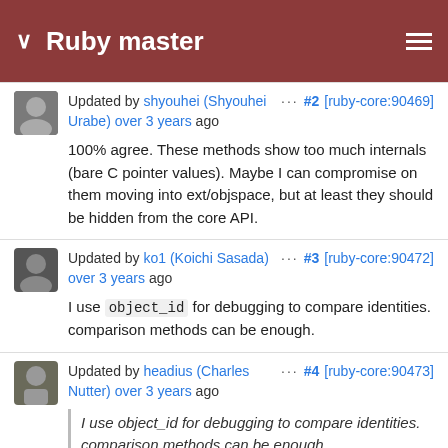Ruby master
Updated by shyouhei (Shyouhei Urabe) over 3 years ago  ···  #2  [ruby-core:90469]
100% agree. These methods show too much internals (bare C pointer values). Maybe I can compromise on them moving into ext/objspace, but at least they should be hidden from the core API.
Updated by ko1 (Koichi Sasada) over 3 years ago  ···  #3  [ruby-core:90472]
I use object_id for debugging to compare identities. comparison methods can be enough.
Updated by headius (Charles Nutter) over 3 years ago  ···  #4  [ruby-core:90473]
I use object_id for debugging to compare identities. comparison methods can be enough.
I believe you are saying that using equal? is an acceptable alternative to comparing object_id's, yes?
Updated by headius (Charles  ···  #5  [ruby-core:90474]